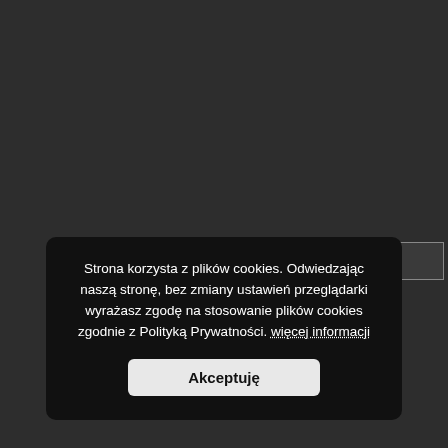[Figure (screenshot): Dark grey background webpage with a broken image strip showing a small thumbnail icon with green image placeholder at top-left]
Strona korzysta z plików cookies. Odwiedzając naszą stronę, bez zmiany ustawień przeglądarki wyrażasz zgodę na stosowanie plików cookies zgodnie z Polityką Prywatności. więcej informacji
Akceptuję